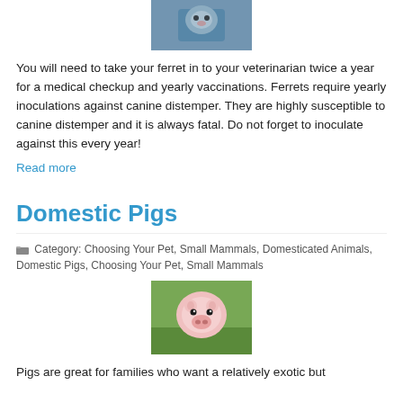[Figure (photo): Partial photo of a ferret, cropped at top]
You will need to take your ferret in to your veterinarian twice a year for a medical checkup and yearly vaccinations. Ferrets require yearly inoculations against canine distemper. They are highly susceptible to canine distemper and it is always fatal. Do not forget to inoculate against this every year!
Read more
Domestic Pigs
Category: Choosing Your Pet, Small Mammals, Domesticated Animals, Domestic Pigs, Choosing Your Pet, Small Mammals
[Figure (photo): Photo of a small pink piglet sitting on green grass, looking at the camera]
Pigs are great for families who want a relatively exotic but